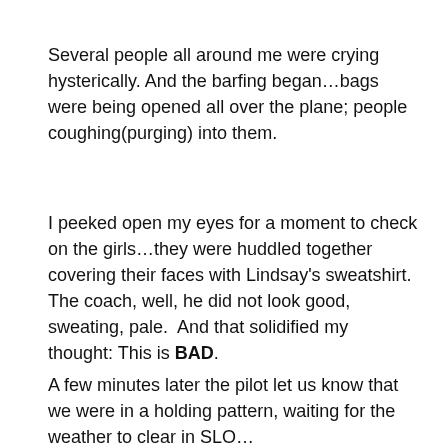Several people all around me were crying hysterically. And the barfing began…bags were being opened all over the plane; people coughing(purging) into them.
I peeked open my eyes for a moment to check on the girls…they were huddled together covering their faces with Lindsay's sweatshirt. The coach, well, he did not look good, sweating, pale.  And that solidified my thought: This is BAD.
A few minutes later the pilot let us know that we were in a holding pattern, waiting for the weather to clear in SLO…